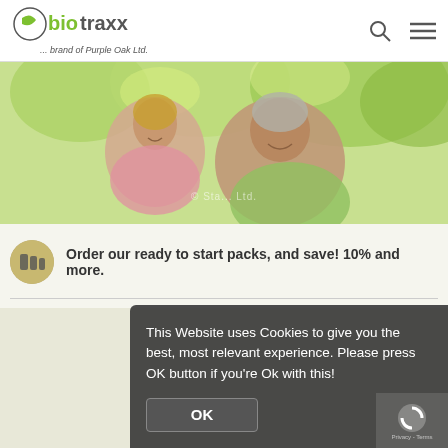[Figure (logo): biotraxx logo with tagline '... brand of Purple Oak Ltd.']
[Figure (photo): Happy older couple (man and woman) smiling outdoors with green trees in background]
[Figure (photo): Small circular icon showing supplement bottles]
Order our ready to start packs, and save! 10% and more.
[Figure (photo): Holistic Horizons supplement bottles displayed in product section]
This Website uses Cookies to give you the best, most relevant experience. Please press OK button if you're Ok with this!
OK